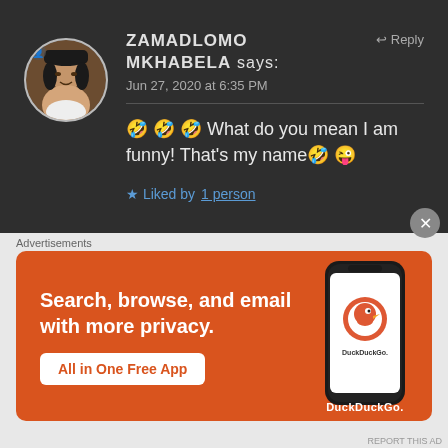[Figure (photo): Circular avatar photo of a young woman wearing a black hat, brown skin, white top]
ZAMADLOMO MKHABELA says:
Jun 27, 2020 at 6:35 PM
↩ Reply
🤣 🤣 🤣 What do you mean I am funny! That's my name🤣 😜
★ Liked by 1 person
Advertisements
[Figure (screenshot): DuckDuckGo advertisement banner — orange background with headline 'Search, browse, and email with more privacy.' and CTA button 'All in One Free App', with a phone showing DuckDuckGo app on the right]